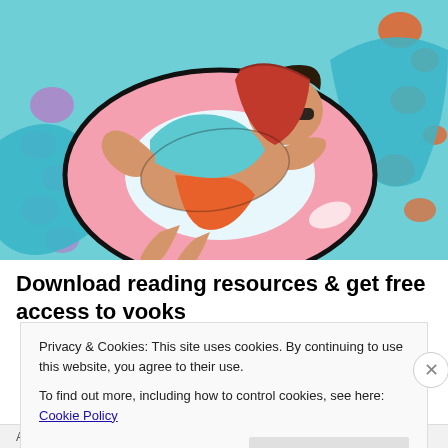[Figure (illustration): Cartoon illustration of a person lying on a pink inflatable ring float, reading a red book, wearing orange swim shorts, set against a colorful blue water background with purple and orange paint splatter spots]
Download reading resources & get free access to vooks
Privacy & Cookies: This site uses cookies. By continuing to use this website, you agree to their use.
To find out more, including how to control cookies, see here: Cookie Policy
Advertisements